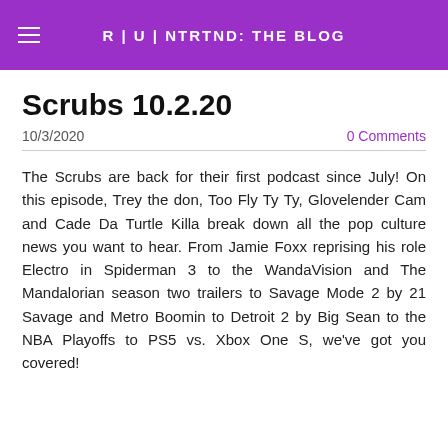R | U | NTRTND: THE BLOG
Scrubs 10.2.20
10/3/2020
0 Comments
The Scrubs are back for their first podcast since July! On this episode, Trey the don, Too Fly Ty Ty, Glovelender Cam and Cade Da Turtle Killa break down all the pop culture news you want to hear. From Jamie Foxx reprising his role Electro in Spiderman 3 to the WandaVision and The Mandalorian season two trailers to Savage Mode 2 by 21 Savage and Metro Boomin to Detroit 2 by Big Sean to the NBA Playoffs to PS5 vs. Xbox One S, we've got you covered!